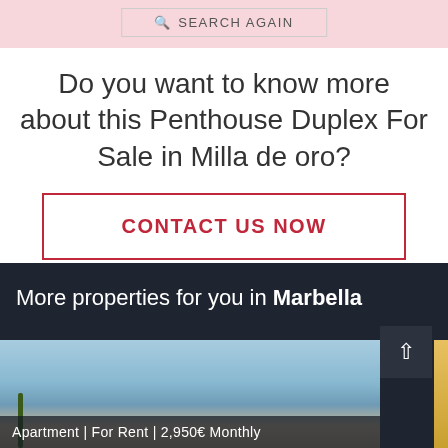SEARCH AGAIN
Do you want to know more about this Penthouse Duplex For Sale in Milla de oro?
CONTACT US NOW
More properties for you in Marbella
Apartment | For Rent | 2,950€ Monthly